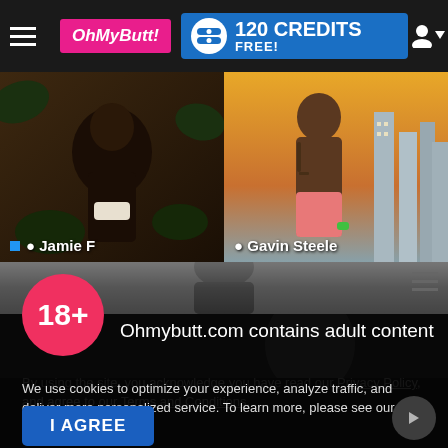OhMyButt! | 120 CREDITS FREE!
[Figure (screenshot): Two profile image thumbnails side by side: left shows Jamie F (dark-skinned person outdoors), right shows Gavin Steele (tattooed person with city background). Both have blue online indicator dots.]
Jamie F
Gavin Steele
18+
Ohmybutt.com contains adult content
By using the site, you acknowledge you have read our Privacy Policy, and agree to our Terms and Conditions.
We use cookies to optimize your experience, analyze traffic, and deliver more personalized service. To learn more, please see our Privacy Policy.
I AGREE